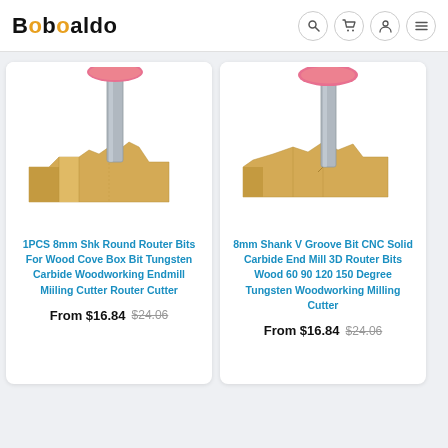Boboaldo
[Figure (illustration): Router bit illustration - round cove router bit with pink top and wooden profile, product image for 1PCS 8mm Shk Round Router Bits]
1PCS 8mm Shk Round Router Bits For Wood Cove Box Bit Tungsten Carbide Woodworking Endmill Miiling Cutter Router Cutter
From $16.84  $24.06
[Figure (illustration): Router bit illustration - V groove bit with pink top and wooden profile, product image for 8mm Shank V Groove Bit CNC Solid Carbide End Mill]
8mm Shank V Groove Bit CNC Solid Carbide End Mill 3D Router Bits Wood 60 90 120 150 Degree Tungsten Woodworking Milling Cutter
From $16.84  $24.06